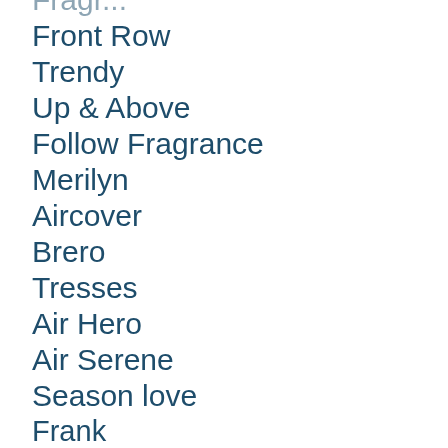Front Row
Trendy
Up & Above
Follow Fragrance
Merilyn
Aircover
Brero
Tresses
Air Hero
Air Serene
Season love
Frank
Offbent
Onell
Roots